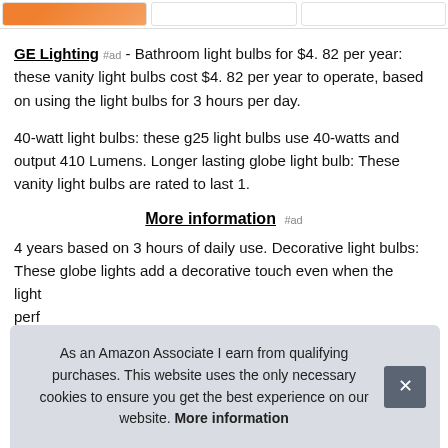[Figure (other): Three product image boxes at top, first one showing an orange/amber colored light bulb]
GE Lighting #ad - Bathroom light bulbs for $4. 82 per year: these vanity light bulbs cost $4. 82 per year to operate, based on using the light bulbs for 3 hours per day.
40-watt light bulbs: these g25 light bulbs use 40-watts and output 410 Lumens. Longer lasting globe light bulb: These vanity light bulbs are rated to last 1.
More information #ad
4 years based on 3 hours of daily use. Decorative light bulbs: These globe lights add a decorative touch even when the light... perf... fixtu...
As an Amazon Associate I earn from qualifying purchases. This website uses the only necessary cookies to ensure you get the best experience on our website. More information